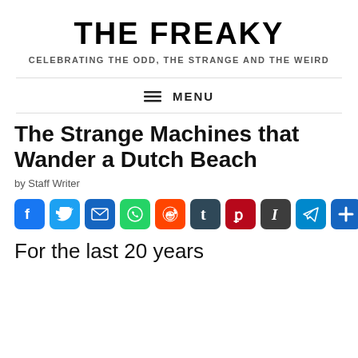THE FREAKY
CELEBRATING THE ODD, THE STRANGE AND THE WEIRD
☰ MENU
The Strange Machines that Wander a Dutch Beach
by Staff Writer
[Figure (infographic): Row of social media sharing icons: Facebook, Twitter, Email, WhatsApp, Reddit, Tumblr, Pinterest, Instapaper, Telegram, Share+]
For the last 20 years